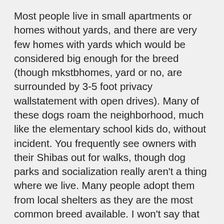Most people live in small apartments or homes without yards, and there are very few homes with yards which would be considered big enough for the breed (though mkstbhomes, yard or no, are surrounded by 3-5 foot privacy wallstatement with open drives). Many of these dogs roam the neighborhood, much like the elementary school kids do, without incident. You frequently see owners with their Shibas out for walks, though dog parks and socialization really aren't a thing where we live. Many people adopt them from local shelters as they are the most common breed available. I won't say that I've never seen a Shiba that wasn't outgoing…we have one little high strung Shiba in our neighborhood…but for the most part they are pretty even tempered and we'll mannered.
I have to wonder if this is a difference in cultural norms (as in, are we as Americans that much more stressed than our